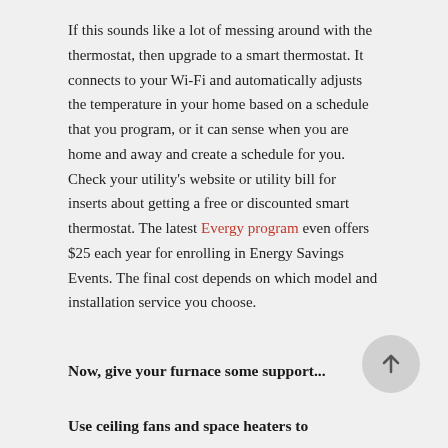If this sounds like a lot of messing around with the thermostat, then upgrade to a smart thermostat. It connects to your Wi-Fi and automatically adjusts the temperature in your home based on a schedule that you program, or it can sense when you are home and away and create a schedule for you. Check your utility's website or utility bill for inserts about getting a free or discounted smart thermostat. The latest Evergy program even offers $25 each year for enrolling in Energy Savings Events. The final cost depends on which model and installation service you choose.
Now, give your furnace some support...
Use ceiling fans and space heaters to